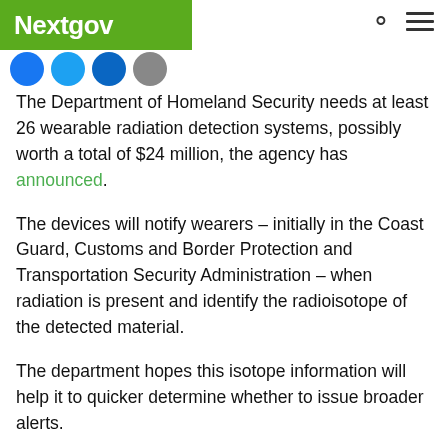Nextgov
[Figure (logo): Nextgov logo on green background with search and menu icons in header]
[Figure (other): Row of social media icon buttons: Facebook, Twitter, LinkedIn, Email]
The Department of Homeland Security needs at least 26 wearable radiation detection systems, possibly worth a total of $24 million, the agency has announced.
The devices will notify wearers – initially in the Coast Guard, Customs and Border Protection and Transportation Security Administration – when radiation is present and identify the radioisotope of the detected material.
The department hopes this isotope information will help it to quicker determine whether to issue broader alerts.
Called human portable tripwires, the devices will sound an alarm if they detect significant amounts of nuclear material and communicate the results in real-time. The Coast Guard system must meet additional maritime requirements.